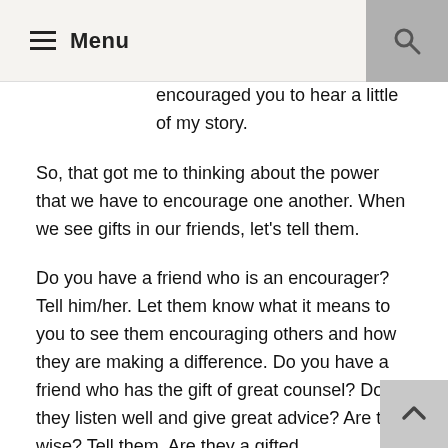Menu
encouraged you to hear a little of my story.
So, that got me to thinking about the power that we have to encourage one another. When we see gifts in our friends, let's tell them.
Do you have a friend who is an encourager? Tell him/her. Let them know what it means to you to see them encouraging others and how they are making a difference. Do you have a friend who has the gift of great counsel? Do they listen well and give great advice? Are they wise? Tell them. Are they a gifted photographer, artist, amazing mother or father, teacher, singer, community leader, blogger, friend, etc.? Tell them! I know that the negative words that are said can have such a powerful impact, almost crippling us from doing the things that we should do. But, I believe that we can overcome the